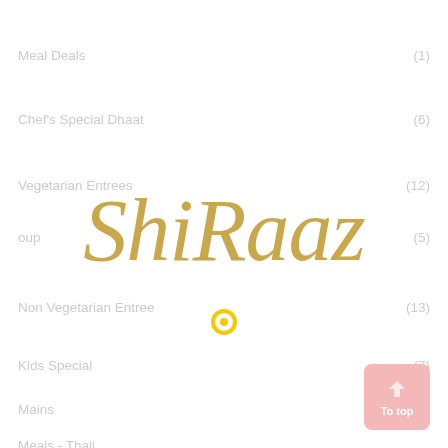Meal Deals (1)
Chef's Special Dhaat (6)
Vegetarian Entrees (12)
Soup (5)
[Figure (logo): ShiRaaz restaurant logo in golden cursive script]
Non Vegetarian Entree (13)
Kids Special (7)
Mains (36)
Meals - Thali (...)